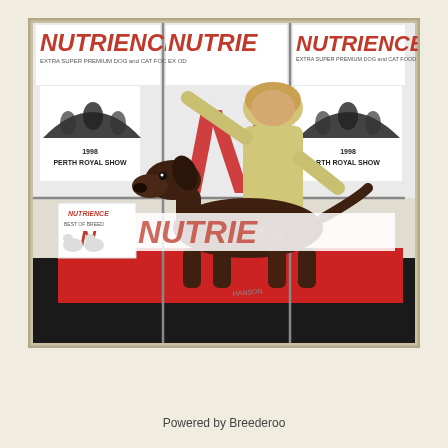[Figure (photo): A photograph of a woman handler posing a dark brown German Shorthaired Pointer dog on a red platform at the 1998 Perth Royal Show, with Nutrience dog food sponsorship banners visible in the background.]
Powered by Breederoo